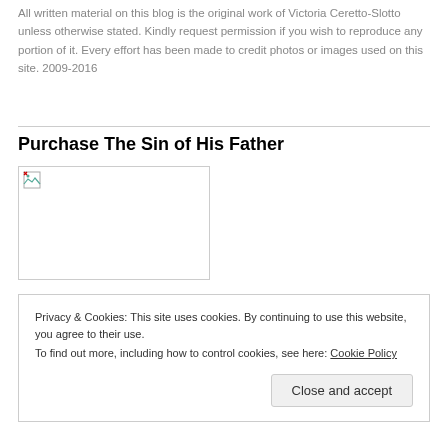All written material on this blog is the original work of Victoria Ceretto-Slotto unless otherwise stated. Kindly request permission if you wish to reproduce any portion of it. Every effort has been made to credit photos or images used on this site. 2009-2016
Purchase The Sin of His Father
[Figure (photo): Broken image placeholder for a book or product image]
Privacy & Cookies: This site uses cookies. By continuing to use this website, you agree to their use.
To find out more, including how to control cookies, see here: Cookie Policy
Close and accept